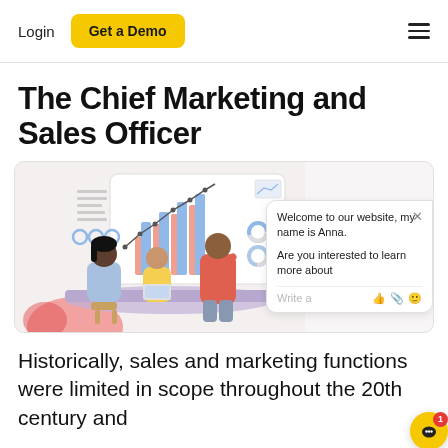Login  Get a Demo  ≡
The Chief Marketing and Sales Officer
[Figure (illustration): Illustration of a business meeting with three people at a table. Background shows a bar and line chart on a presentation board. A chat widget overlay on the right shows: 'Welcome to our website, my name is Anna.' and 'Are you interested to learn more about' with a text input bar showing emoji/attachment icons.]
Historically, sales and marketing functions were limited in scope throughout the 20th century and